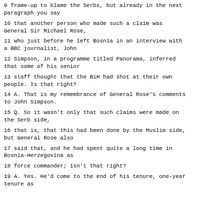9 frame-up to blame the Serbs, but already in the next paragraph you say
10 that another person who made such a claim was General Sir Michael Rose,
11 who just before he left Bosnia in an interview with a BBC journalist, John
12 Simpson, in a programme titled Panorama, inferred that some of his senior
13 staff thought that the BiH had shot at their own people. Is that right?
14 A. That is my remembrance of General Rose's comments to John Simpson.
15 Q. So it wasn't only that such claims were made on the Serb side,
16 that is, that this had been done by the Muslim side, but General Rose also
17 said that, and he had spent quite a long time in Bosnia-Herzegovina as
18 force commander; isn't that right?
19 A. Yes. He'd come to the end of his tenure, one-year tenure as